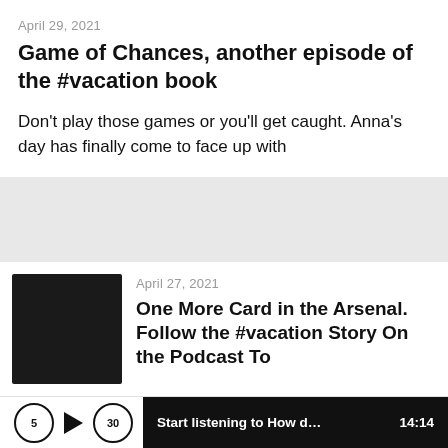April 29, 2021
Game of Chances, another episode of the #vacation book
Don't play those games or you'll get caught. Anna's day has finally come to face up with
April 27, 2021
[Figure (photo): Dark square thumbnail image for podcast episode]
One More Card in the Arsenal. Follow the #vacation Story On the Podcast To
Start listening to How does it f...  14:14